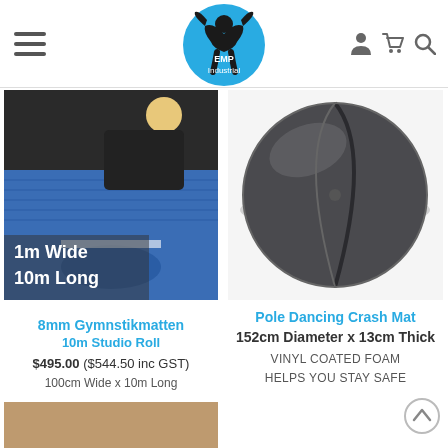EMP Industrial navigation header with hamburger menu, logo, and icons
[Figure (photo): Woman exercising with a blue yoga/gymnastics mat roll, text overlay: 1m Wide 10m Long]
[Figure (photo): Dark grey circular pole dancing crash mat, two-piece design]
8mm Gymnstikmatten
10m Studio Roll
$495.00 ($544.50 inc GST)
100cm Wide x 10m Long
Pole Dancing Crash Mat
152cm Diameter x 13cm Thick
VINYL COATED FOAM HELPS YOU STAY SAFE